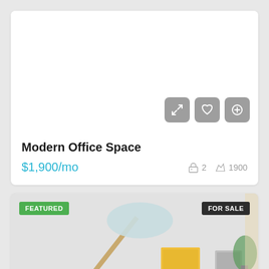Modern Office Space
$1,900/mo
2   1900
[Figure (photo): Interior room photo showing a lamp, framed art and plant with FEATURED and FOR SALE badges]
FEATURED
FOR SALE